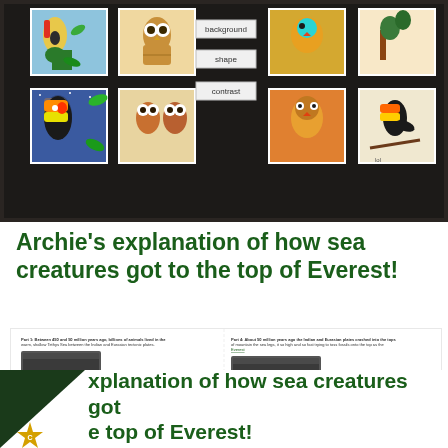[Figure (photo): A black display board showing multiple student artwork pieces of birds (toucans and owls) in colourful painted/drawn style, arranged in a grid. White label tags in the centre read 'background', 'shape', and 'contrast'.]
Archie's explanation of how sea creatures got to the top of Everest!
[Figure (screenshot): A screenshot of a student's written explanation document with multiple sections and embedded photographs of dark-coloured rocks/stones, illustrating the explanation of how sea creatures got to the top of Everest.]
xplanation of how sea creatures got
e top of Everest!